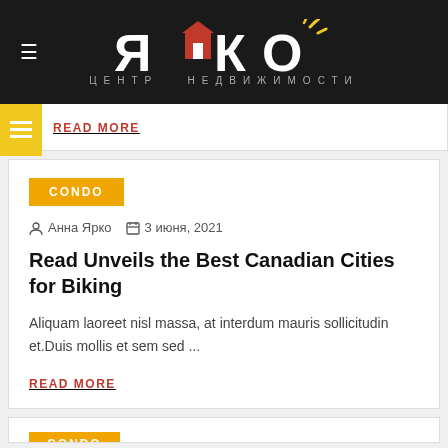ЯРКО — ЦЕНТР НЕДВИЖИМОСТИ
READ MORE
CONDO
Анна Ярко   3 июня, 2021
Read Unveils the Best Canadian Cities for Biking
Aliquam laoreet nisl massa, at interdum mauris sollicitudin et.Duis mollis et sem sed ...
READ MORE